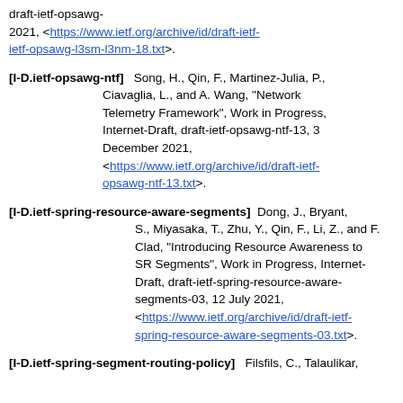draft-ietf-opsawg-... 2021, <https://www.ietf.org/archive/id/draft-ietf-opsawg-l3sm-l3nm-18.txt>.
[I-D.ietf-opsawg-ntf] Song, H., Qin, F., Martinez-Julia, P., Ciavaglia, L., and A. Wang, "Network Telemetry Framework", Work in Progress, Internet-Draft, draft-ietf-opsawg-ntf-13, 3 December 2021, <https://www.ietf.org/archive/id/draft-ietf-opsawg-ntf-13.txt>.
[I-D.ietf-spring-resource-aware-segments] Dong, J., Bryant, S., Miyasaka, T., Zhu, Y., Qin, F., Li, Z., and F. Clad, "Introducing Resource Awareness to SR Segments", Work in Progress, Internet-Draft, draft-ietf-spring-resource-aware-segments-03, 12 July 2021, <https://www.ietf.org/archive/id/draft-ietf-spring-resource-aware-segments-03.txt>.
[I-D.ietf-spring-segment-routing-policy] Filsfils, C., Talaulikar,